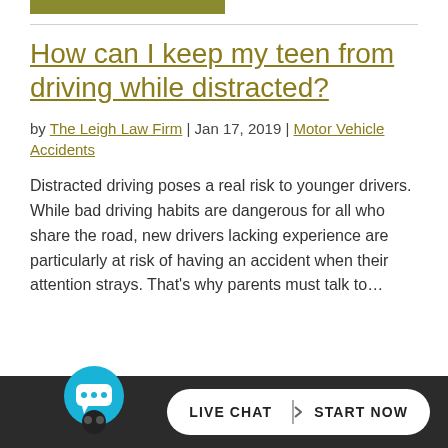How can I keep my teen from driving while distracted?
by The Leigh Law Firm | Jan 17, 2019 | Motor Vehicle Accidents
Distracted driving poses a real risk to younger drivers. While bad driving habits are dangerous for all who share the road, new drivers lacking experience are particularly at risk of having an accident when their attention strays. That’s why parents must talk to…
[Figure (screenshot): Live Chat button with chat bubble icon and 'LIVE CHAT | START NOW' text on dark footer bar]